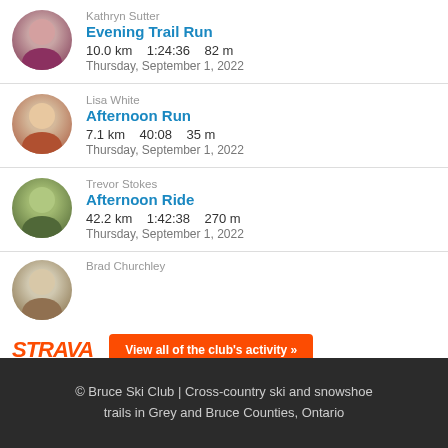Kathryn Sutter
Evening Trail Run
10.0 km   1:24:36   82 m
Thursday, September 1, 2022
Lisa White
Afternoon Run
7.1 km   40:08   35 m
Thursday, September 1, 2022
Trevor Stokes
Afternoon Ride
42.2 km   1:42:38   270 m
Thursday, September 1, 2022
Brad Churchley
[Figure (logo): Strava logo in orange italic bold text]
View all of the club's activity »
© Bruce Ski Club | Cross-country ski and snowshoe trails in Grey and Bruce Counties, Ontario